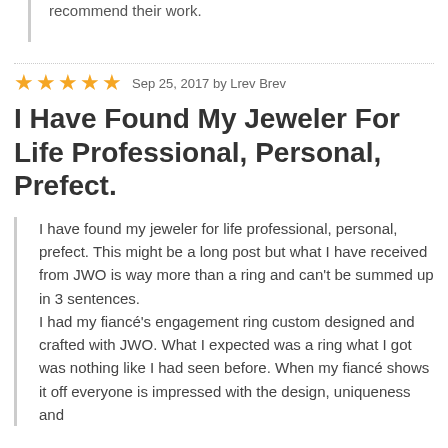recommend their work.
Sep 25, 2017 by Lrev Brev
I Have Found My Jeweler For Life Professional, Personal, Prefect.
I have found my jeweler for life professional, personal, prefect. This might be a long post but what I have received from JWO is way more than a ring and can't be summed up in 3 sentences.
I had my fiancé's engagement ring custom designed and crafted with JWO. What I expected was a ring what I got was nothing like I had seen before. When my fiancé shows it off everyone is impressed with the design, uniqueness and